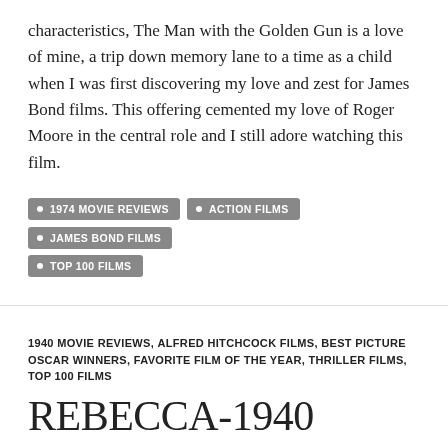characteristics, The Man with the Golden Gun is a love of mine, a trip down memory lane to a time as a child when I was first discovering my love and zest for James Bond films. This offering cemented my love of Roger Moore in the central role and I still adore watching this film.
• 1974 MOVIE REVIEWS
• ACTION FILMS
• JAMES BOND FILMS
• TOP 100 FILMS
1940 MOVIE REVIEWS, ALFRED HITCHCOCK FILMS, BEST PICTURE OSCAR WINNERS, FAVORITE FILM OF THE YEAR, THRILLER FILMS, TOP 100 FILMS
REBECCA-1940
JANUARY 9, 2016   LEAVE A COMMENT